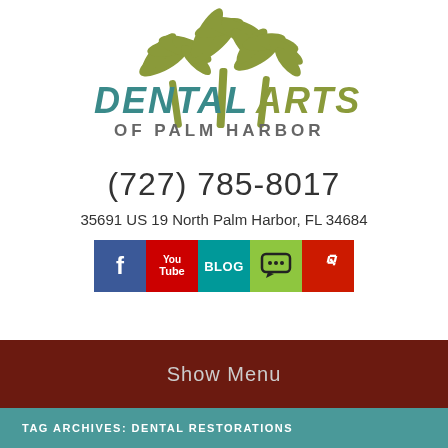[Figure (logo): Dental Arts of Palm Harbor logo with two palm trees above stylized teal and olive-green text reading DENTAL ARTS OF PALM HARBOR]
(727) 785-8017
35691 US 19 North Palm Harbor, FL 34684
[Figure (other): Row of social media icon buttons: Facebook (blue), YouTube (red), Blog (teal), chat/coupon (green), Yelp (red)]
Show Menu
TAG ARCHIVES: DENTAL RESTORATIONS